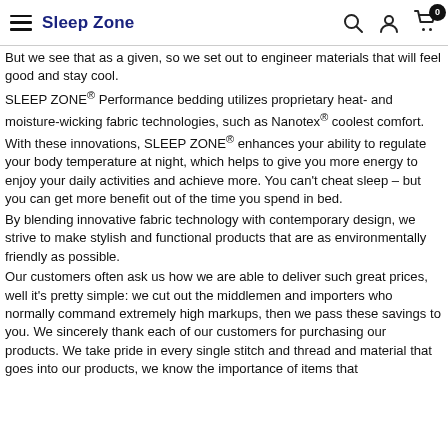Sleep Zone
But we see that as a given, so we set out to engineer materials that will feel good and stay cool.
SLEEP ZONE® Performance bedding utilizes proprietary heat- and moisture-wicking fabric technologies, such as Nanotex® coolest comfort. With these innovations, SLEEP ZONE® enhances your ability to regulate your body temperature at night, which helps to give you more energy to enjoy your daily activities and achieve more. You can't cheat sleep – but you can get more benefit out of the time you spend in bed.
By blending innovative fabric technology with contemporary design, we strive to make stylish and functional products that are as environmentally friendly as possible.
Our customers often ask us how we are able to deliver such great prices, well it's pretty simple: we cut out the middlemen and importers who normally command extremely high markups, then we pass these savings to you. We sincerely thank each of our customers for purchasing our products. We take pride in every single stitch and thread and material that goes into our products, we know the importance of items that